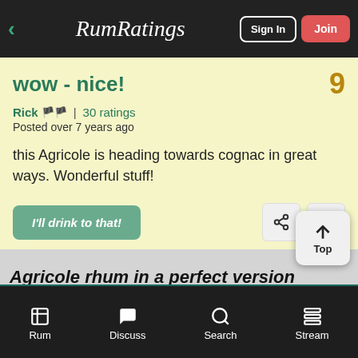RumRatings — Sign In | Join
wow - nice!
Rick 🏴 | 30 ratings
Posted over 7 years ago
this Agricole is heading towards cognac in great ways. Wonderful stuff!
I'll drink to that!
Agricole rhum in a perfect version
Go Premium: Ad-Free, Prices, Dark Mode, +More
Rum  Discuss  Search  Stream